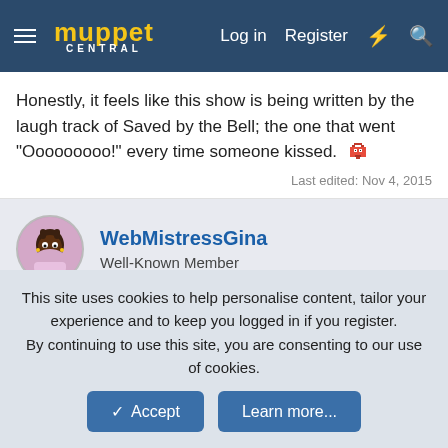Muppet Central — Log in | Register
Honestly, it feels like this show is being written by the laugh track of Saved by the Bell; the one that went "Ooooooooo!" every time someone kissed.
Last edited: Nov 4, 2015
WebMistressGina — Well-Known Member
Nov 5, 2015  #125
heralde said:
This site uses cookies to help personalise content, tailor your experience and to keep you logged in if you register.
By continuing to use this site, you are consenting to our use of cookies.
Accept  Learn more...